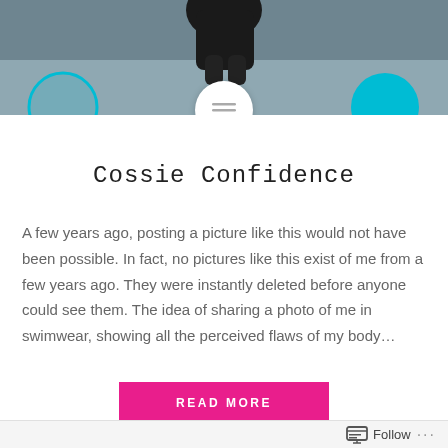[Figure (photo): Photo of a person in swimwear on a beach, partially cropped. Three overlapping circles at the bottom: teal outlined circle on the left, white circle with hamburger menu icon in the center, teal filled circle on the right.]
Cossie Confidence
A few years ago, posting a picture like this would not have been possible. In fact, no pictures like this exist of me from a few years ago. They were instantly deleted before anyone could see them. The idea of sharing a photo of me in swimwear, showing all the perceived flaws of my body…
READ MORE
Follow ...